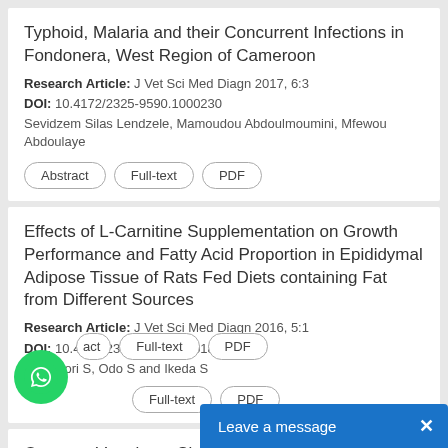Typhoid, Malaria and their Concurrent Infections in Fondonera, West Region of Cameroon
Research Article: J Vet Sci Med Diagn 2017, 6:3
DOI: 10.4172/2325-9590.1000230
Sevidzem Silas Lendzele, Mamoudou Abdoulmoumini, Mfewou Abdoulaye
Abstract
Full-text
PDF
Effects of L-Carnitine Supplementation on Growth Performance and Fatty Acid Proportion in Epididymal Adipose Tissue of Rats Fed Diets containing Fat from Different Sources
Research Article: J Vet Sci Med Diagn 2016, 5:1
DOI: 10.4172/2325-9590.1000184
Sukemori S, Odo S and Ikeda S
Abstract
Full-text
PDF
Osseous Veterinary Site Re...